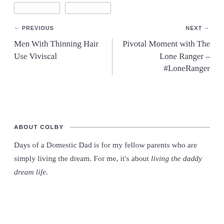← PREVIOUS
NEXT →
Men With Thinning Hair Use Viviscal
Pivotal Moment with The Lone Ranger – #LoneRanger
ABOUT COLBY
Days of a Domestic Dad is for my fellow parents who are simply living the dream. For me, it's about living the daddy dream life.